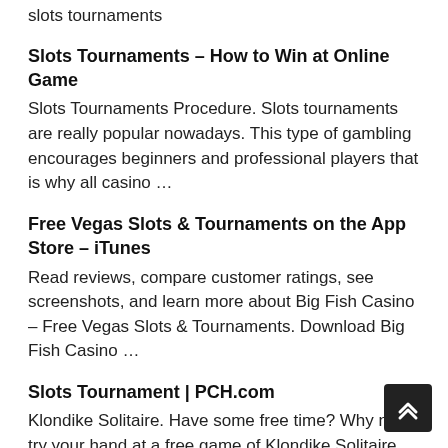slots tournaments
Slots Tournaments – How to Win at Online Game
Slots Tournaments Procedure. Slots tournaments are really popular nowadays. This type of gambling encourages beginners and professional players that is why all casino …
Free Vegas Slots & Tournaments on the App Store – iTunes
Read reviews, compare customer ratings, see screenshots, and learn more about Big Fish Casino – Free Vegas Slots & Tournaments. Download Big Fish Casino …
Slots Tournament | PCH.com
Klondike Solitaire. Have some free time? Why not try your hand at a free game of Klondike Solitaire, the world's favorite Solitaire game? This is the …